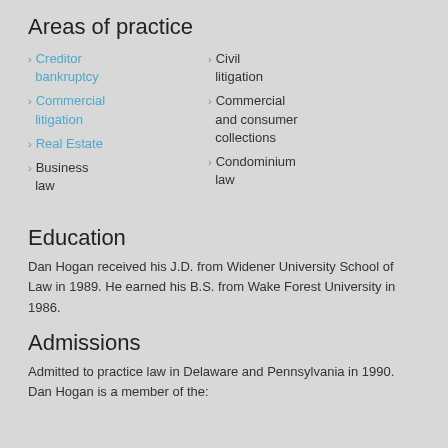Areas of practice
Creditor bankruptcy
Commercial litigation
Real Estate
Business law
Civil litigation
Commercial and consumer collections
Condominium law
Education
Dan Hogan received his J.D. from Widener University School of Law in 1989. He earned his B.S. from Wake Forest University in 1986.
Admissions
Admitted to practice law in Delaware and Pennsylvania in 1990. Dan Hogan is a member of the: